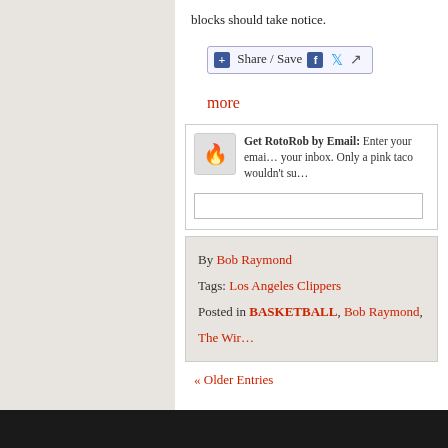blocks should take notice.
[Figure (other): Share/Save social sharing button bar with Facebook, Twitter and share icons]
more
Get RotoRob by Email: Enter your email ... your inbox. Only a pink taco wouldn't su...
By Bob Raymond
Tags: Los Angeles Clippers
Posted in BASKETBALL, Bob Raymond, The Wir...
« Older Entries